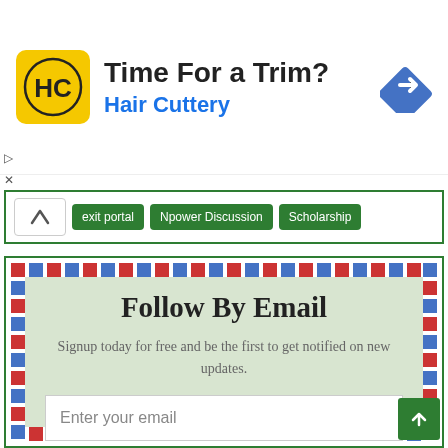[Figure (screenshot): Hair Cuttery advertisement banner with yellow HC logo, 'Time For a Trim?' heading, 'Hair Cuttery' subtitle in blue, and a blue navigation arrow icon on the right]
exit portal   Npower Discussion   Scholarship
Follow By Email
Signup today for free and be the first to get notified on new updates.
Enter your email
Subscribe